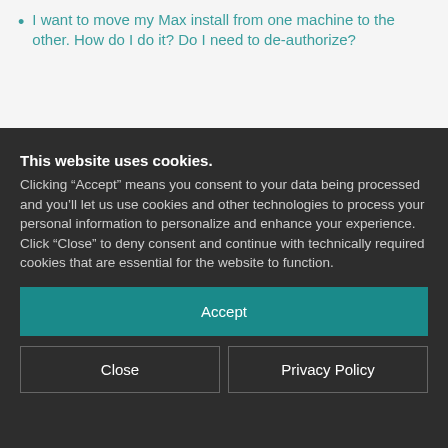I want to move my Max install from one machine to the other. How do I do it? Do I need to de-authorize?
This website uses cookies. Clicking “Accept” means you consent to your data being processed and you’ll let us use cookies and other technologies to process your personal information to personalize and enhance your experience. Click “Close” to deny consent and continue with technically required cookies that are essential for the website to function.